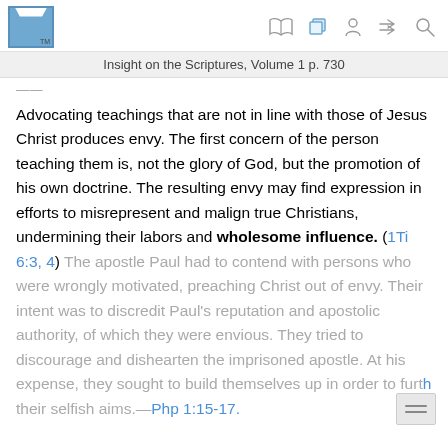Insight on the Scriptures, Volume 1 p. 730
Advocating teachings that are not in line with those of Jesus Christ produces envy. The first concern of the person teaching them is, not the glory of God, but the promotion of his own doctrine. The resulting envy may find expression in efforts to misrepresent and malign true Christians, undermining their labors and wholesome influence. (1Ti 6:3, 4) The apostle Paul had to contend with persons who were wrongly motivated, preaching Christ out of envy. Their intent was to discredit Paul’s reputation and apostolic authority, of which they were envious. They tried to discourage and dishearten the imprisoned apostle. At his expense, they sought to build themselves up in order to further their selfish aims.—Php 1:15-17.